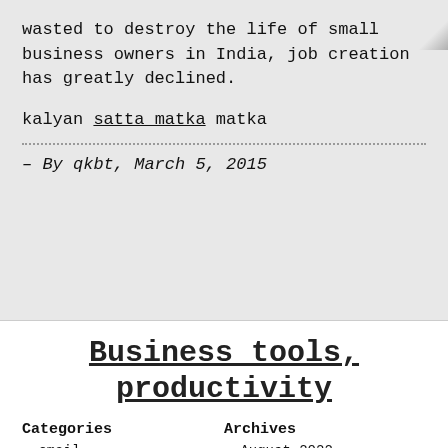wasted to destroy the life of small business owners in India, job creation has greatly declined.
kalyan satta matka matka
– By qkbt, March 5, 2015
Business tools, productivity
Categories
Archives
email
August 2022